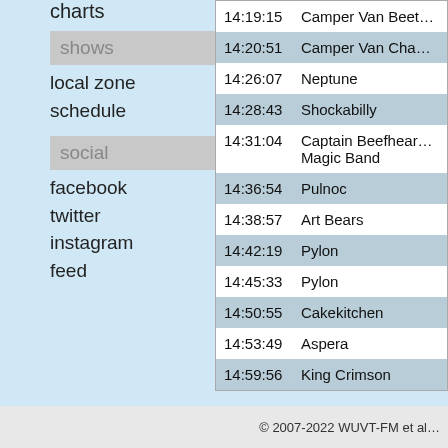charts
shows
local zone
schedule
social
facebook
twitter
instagram
feed
| Time | Artist |
| --- | --- |
| 14:19:15 | Camper Van Beet… |
| 14:20:51 | Camper Van Cha… |
| 14:26:07 | Neptune |
| 14:28:43 | Shockabilly |
| 14:31:04 | Captain Beefhear… Magic Band |
| 14:36:54 | Pulnoc |
| 14:38:57 | Art Bears |
| 14:42:19 | Pylon |
| 14:45:33 | Pylon |
| 14:50:55 | Cakekitchen |
| 14:53:49 | Aspera |
| 14:59:56 | King Crimson |
© 2007-2022 WUVT-FM et al…